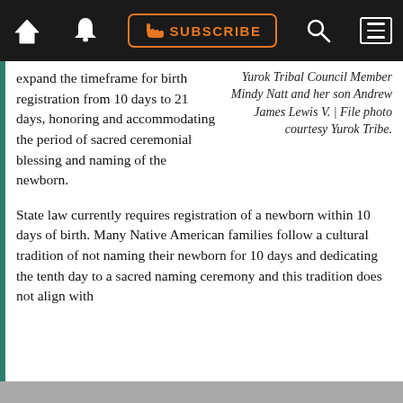SUBSCRIBE navigation bar with home, bell, subscribe, search, and menu icons
expand the timeframe for birth registration from 10 days to 21 days, honoring and accommodating the period of sacred ceremonial blessing and naming of the newborn.
Yurok Tribal Council Member Mindy Natt and her son Andrew James Lewis V. | File photo courtesy Yurok Tribe.
State law currently requires registration of a newborn within 10 days of birth. Many Native American families follow a cultural tradition of not naming their newborn for 10 days and dedicating the tenth day to a sacred naming ceremony and this tradition does not align with